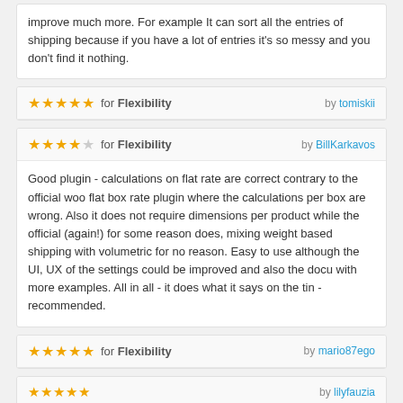improve much more. For example It can sort all the entries of shipping because if you have a lot of entries it's so messy and you don't find it nothing.
★★★★★ for Flexibility   by tomiskii
★★★★☆ for Flexibility   by BillKarkavos
Good plugin - calculations on flat rate are correct contrary to the official woo flat box rate plugin where the calculations per box are wrong. Also it does not require dimensions per product while the official (again!) for some reason does, mixing weight based shipping with volumetric for no reason. Easy to use although the UI, UX of the settings could be improved and also the docu with more examples. All in all - it does what it says on the tin - recommended.
★★★★★ for Flexibility   by mario87ego
★★★★★   by lilyfauzia
★★★★★   by volupio
Good work :)
★★★★★